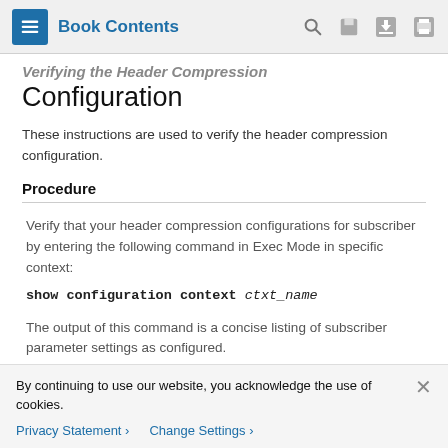Book Contents
Verifying the Header Compression Configuration
Configuration
These instructions are used to verify the header compression configuration.
Procedure
Verify that your header compression configurations for subscriber by entering the following command in Exec Mode in specific context:
The output of this command is a concise listing of subscriber parameter settings as configured.
By continuing to use our website, you acknowledge the use of cookies.
Privacy Statement  Change Settings